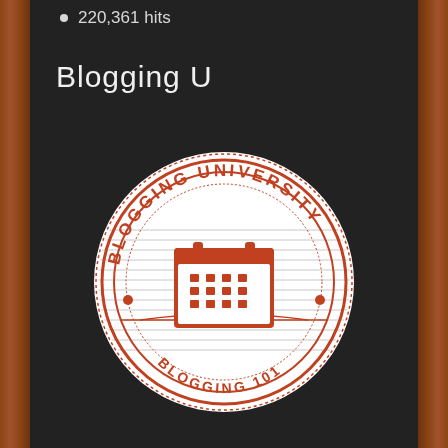220,361 hits
Blogging U
[Figure (logo): Blogging University circular badge/seal with orange color scheme, featuring a calendar icon in the center, text 'BLOGGING UNIVERSITY' along the top arc and 'BLOGGING 101' along the bottom arc, with decorative lines and dotted borders.]